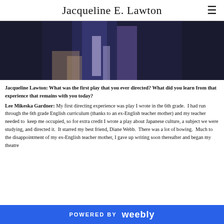Jacqueline E. Lawton
[Figure (photo): A partially visible photograph showing a person in dark/blue clothing, cropped at the top of the page.]
Jacqueline Lawton: What was the first play that you ever directed? What did you learn from that experience that remains with you today?
Lee Mikeska Gardner: My first directing experience was play I wrote in the 6th grade. I had run through the 6th grade English curriculum (thanks to an ex-English teacher mother) and my teacher needed to keep me occupied, so for extra credit I wrote a play about Japanese culture, a subject we were studying, and directed it. It starred my best friend, Diane Webb. There was a lot of bowing. Much to the disappointment of my ex-English teacher mother, I gave up writing soon thereafter and began my theatre
POWERED BY weebly